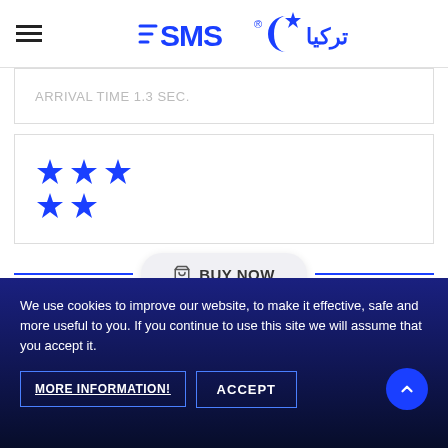[Figure (logo): SMS Turkey logo with crescent moon and star, text 'SMS' in blue with Arabic text]
ARRIVAL TIME 1.3 SEC.
[Figure (other): 5 blue star rating icons (4 on top row, 1 on bottom row)]
🛒 BUY NOW
2000 SMS
We use cookies to improve our website, to make it effective, safe and more useful to you. If you continue to use this site we will assume that you accept it.
MORE INFORMATION!
ACCEPT